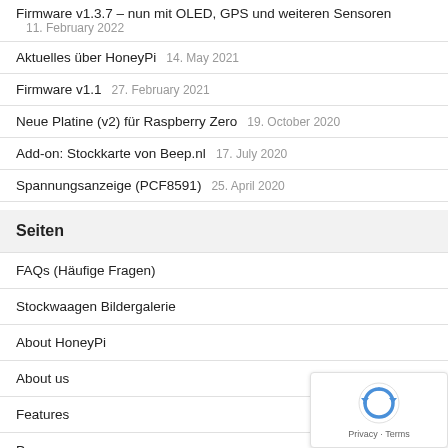Firmware v1.3.7 – nun mit OLED, GPS und weiteren Sensoren  11. February 2022
Aktuelles über HoneyPi  14. May 2021
Firmware v1.1  27. February 2021
Neue Platine (v2) für Raspberry Zero  19. October 2020
Add-on: Stockkarte von Beep.nl  17. July 2020
Spannungsanzeige (PCF8591)  25. April 2020
Seiten
FAQs (Häufige Fragen)
Stockwaagen Bildergalerie
About HoneyPi
About us
Features
Press